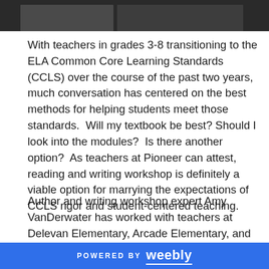[Figure (photo): Partial photo of a classroom or meeting setting, showing people and equipment in a dark-toned environment]
With teachers in grades 3-8 transitioning to the ELA Common Core Learning Standards (CCLS) over the course of the past two years, much conversation has centered on the best methods for helping students meet those standards.  Will my textbook be best?  Should I look into the modules?  Is there another option?  As teachers at Pioneer can attest, reading and writing workshop is definitely a viable option for marrying the expectations of CCLS rigor and student-centered teaching.
Author and writing workshop expert Amy VanDerwater has worked with teachers at Delevan Elementary, Arcade Elementary, and Pioneer Middle School for the past two years to bring workshop to district.
POWERED BY weebly